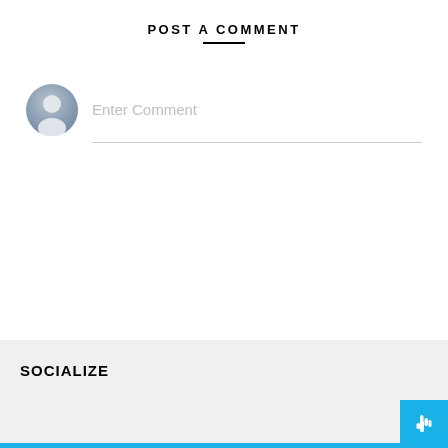POST A COMMENT
[Figure (illustration): Gray avatar/user silhouette icon circle with gray gradient background]
Enter Comment
SOCIALIZE
[Figure (illustration): White hand pointer cursor icon on blue background button]